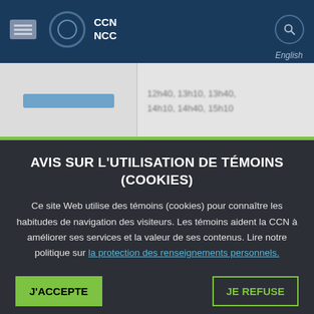CCN NCC
12h40, 13h10, 13h40, 14h10, 14h40, 15h10
AVIS SUR L'UTILISATION DE TÉMOINS (COOKIES)
Ce site Web utilise des témoins (cookies) pour connaître les habitudes de navigation des visiteurs. Les témoins aident la CCN à améliorer ses services et la valeur de ses contenus. Lire notre politique sur la protection des renseignements personnels.
J'ACCEPTE
JE REFUSE